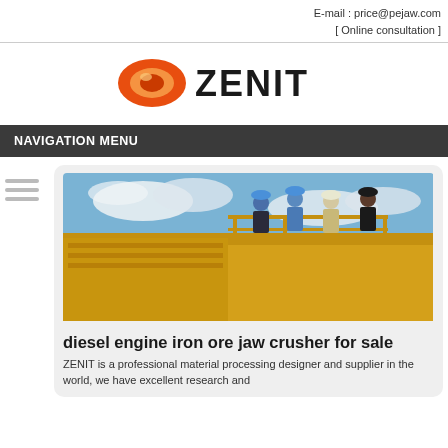E-mail : price@pejaw.com
[ Online consultation ]
[Figure (logo): ZENIT company logo with orange oval/eye icon and bold ZENIT text]
NAVIGATION MENU
[Figure (photo): Four workers in hard hats standing on a large yellow industrial jaw crusher machine against a blue sky with clouds]
diesel engine iron ore jaw crusher for sale
ZENIT is a professional material processing designer and supplier in the world, we have excellent research and